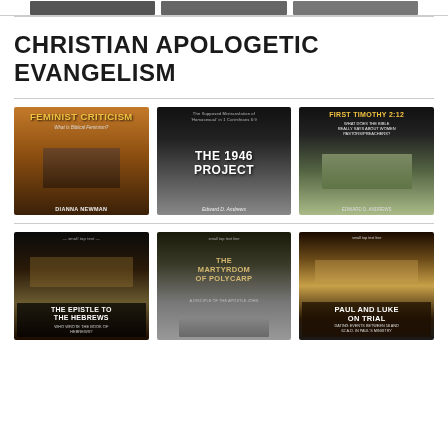[Figure (illustration): Three book cover thumbnails in a horizontal row at the top of the page, partially cropped]
CHRISTIAN APOLOGETIC EVANGELISM
[Figure (illustration): Book cover: FEMINIST CRITICISM by Dianna Newman, woman with raised arm against fiery sky background]
[Figure (illustration): Book cover: THE 1946 PROJECT by Edward D. Andrews, subtitle 'The Supposed Mistranslation of Homosexual in 1 Corinthians 6:9']
[Figure (illustration): Book cover: FIRST TIMOTHY 2:12 - What Does the Bible Really Says About Women Pastors/Preachers, woman praying outdoors]
[Figure (illustration): Book cover: THE EPISTLE TO THE HEBREWS - Who Wrote the Book of Hebrews?, historical painting]
[Figure (illustration): Book cover: THE MARTYRDOM OF POLYCARP - A Disciple of the Apostle John, Roman amphitheater with lion]
[Figure (illustration): Book cover: PAUL AND LUKE ON TRIAL - Dating Events Between 58 and 62 A.D. in Paul's Ministry]